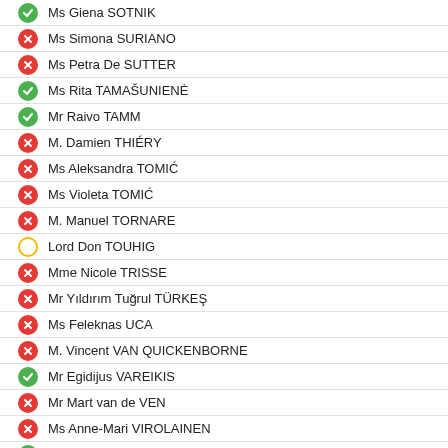Ms Giena SOTNIK
Ms Simona SURIANO
Ms Petra De SUTTER
Ms Rita TAMAŠUNIENĖ
Mr Raivo TAMM
M. Damien THIÉRY
Ms Aleksandra TOMIĆ
Ms Violeta TOMIĆ
M. Manuel TORNARE
Lord Don TOUHIG
Mme Nicole TRISSE
Mr Yıldırım Tuğrul TÜRKEŞ
Ms Feleknas UCA
M. Vincent VAN QUICKENBORNE
Mr Egidijus VAREIKIS
Mr Mart van de VEN
Ms Anne-Mari VIROLAINEN
M. Sündüz VOST